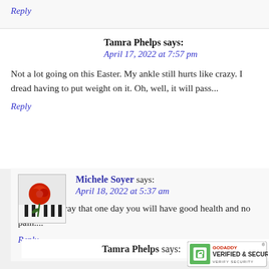Reply
Tamra Phelps says:
April 17, 2022 at 7:57 pm
Not a lot going on this Easter. My ankle still hurts like crazy. I dread having to put weight on it. Oh, well, it will pass...
Reply
Michele Soyer says:
April 18, 2022 at 5:37 am
I hope and pray that one day you will have good health and no pain....
Reply
Tamra Phelps says:
[Figure (logo): GoDaddy Verified & Secured badge]